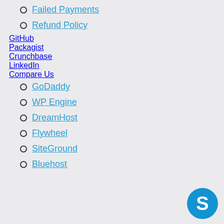Failed Payments
Refund Policy
GitHub
Packagist
Crunchbase
LinkedIn
Compare Us
GoDaddy
WP Engine
DreamHost
Flywheel
SiteGround
Bluehost
[Figure (logo): Skype logo - blue circular icon with white S letter]